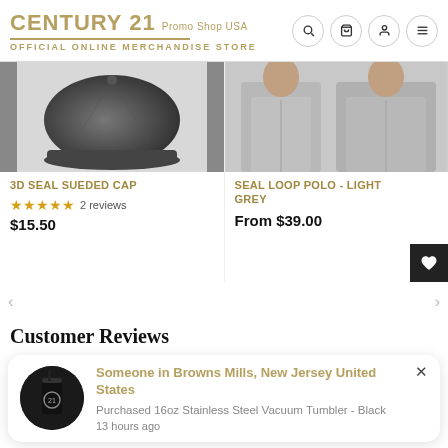[Figure (screenshot): Century 21 Promo Shop USA website header with logo, tagline 'OFFICIAL ONLINE MERCHANDISE STORE', and navigation icons]
[Figure (photo): Product image of 3D Seal Sueded Cap in dark grey/charcoal]
3D SEAL SUEDED CAP
★★★★★ 2 reviews
$15.50
[Figure (photo): Product image of Seal Loop Polo in Light Grey, showing two views of a person wearing it]
SEAL LOOP POLO - LIGHT GREY
From $39.00
Customer Reviews
Someone in Browns Mills, New Jersey United States
Purchased 16oz Stainless Steel Vacuum Tumbler - Black
13 hours ago